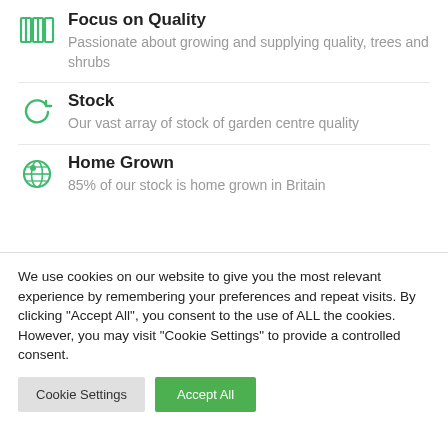Focus on Quality — Passionate about growing and supplying quality, trees and shrubs
Stock — Our vast array of stock of garden centre quality
Home Grown — 85% of our stock is home grown in Britain
We use cookies on our website to give you the most relevant experience by remembering your preferences and repeat visits. By clicking "Accept All", you consent to the use of ALL the cookies. However, you may visit "Cookie Settings" to provide a controlled consent.
Cookie Settings | Accept All